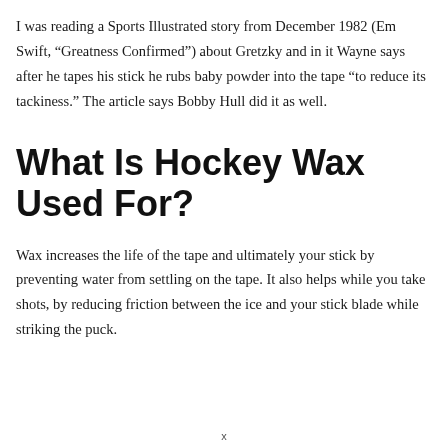I was reading a Sports Illustrated story from December 1982 (Em Swift, “Greatness Confirmed”) about Gretzky and in it Wayne says after he tapes his stick he rubs baby powder into the tape “to reduce its tackiness.” The article says Bobby Hull did it as well.
What Is Hockey Wax Used For?
Wax increases the life of the tape and ultimately your stick by preventing water from settling on the tape. It also helps while you take shots, by reducing friction between the ice and your stick blade while striking the puck.
x